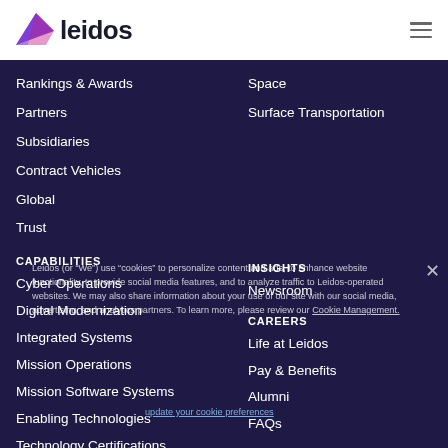[Figure (logo): Leidos logo with purple triangle/arrow shape and bold dark text 'leidos']
Rankings & Awards
Partners
Subsidiaries
Contract Vehicles
Global
Trust
Space
Surface Transportation
CAPABILITIES
Cyber Operations
Digital Modernization
Integrated Systems
Mission Operations
Mission Software Systems
Enabling Technologies
Technology Certifications
INSIGHTS
Newsroom
CAREERS
Life at Leidos
Pay & Benefits
Alumni
FAQs
Leidos (or “We”) use “cookies” to personalize content and ads, to enhance website functionality, to provide social media features, and to analyze traffic to Leidos-operated websites. We may also share information about your use of our site with our social media, advertising, and analytics partners. To learn more, please review our Cookie Management.
update your cookie preferences